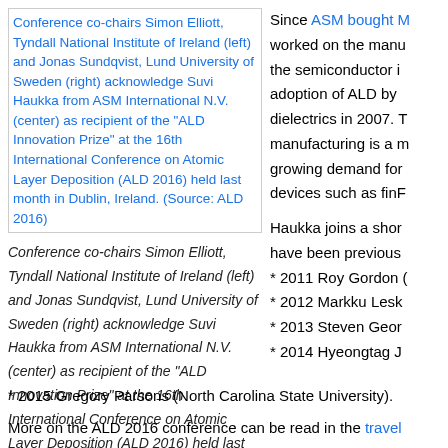[Figure (photo): Conference co-chairs Simon Elliott, Tyndall National Institute of Ireland (left) and Jonas Sundqvist, Lund University of Sweden (right) acknowledge Suvi Haukka from ASM International N.V. (center) as recipient of the 'ALD Innovation Prize' at the 16th International Conference on Atomic Layer Deposition (ALD 2016) held last month in Dublin, Ireland. (Source: ALD 2016)]
Conference co-chairs Simon Elliott, Tyndall National Institute of Ireland (left) and Jonas Sundqvist, Lund University of Sweden (right) acknowledge Suvi Haukka from ASM International N.V. (center) as recipient of the "ALD Innovation Prize" at the 16th International Conference on Atomic Layer Deposition (ALD 2016) held last month in Dublin, Ireland. (Source: ALD 2016)
Since ASM bought M worked on the manu the semiconductor i adoption of ALD by L dielectrics in 2007. T manufacturing is a m growing demand for devices such as finF
Haukka joins a shor have been previous * 2011 Roy Gordon * 2012 Markku Lesk * 2013 Steven Geor * 2014 Hyeongtag J
* 2015 Gregory Parsons (North Carolina State University).
More on the ALD 2016 conference can be read in the travel report by Riikk